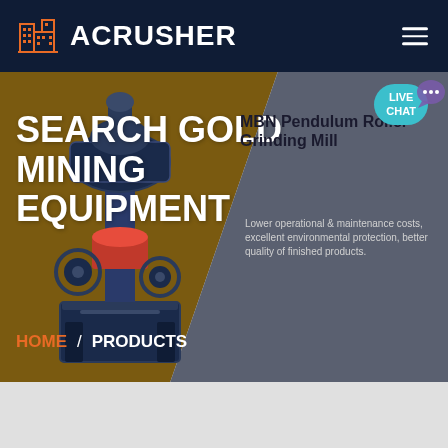[Figure (screenshot): ACRUSHER website screenshot showing navigation bar with orange building logo and white ACRUSHER text on dark navy background, hamburger menu icon on right]
SEARCH GOLD MINING EQUIPMENT
MBN Pendulum Roller Grinding Mill
Lower operational & maintenance costs, excellent environmental protection, better quality of finished products.
HOME / PRODUCTS